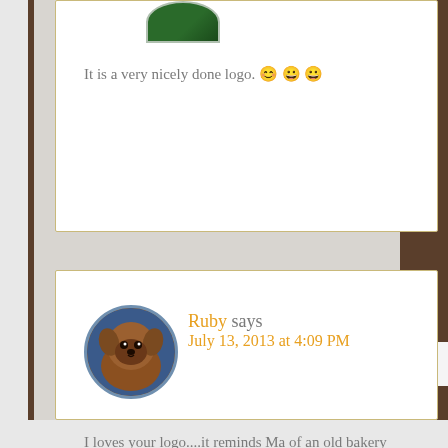It is a very nicely done logo. 🙂 🙂 🙂
[Figure (photo): Circular avatar photo of a brown fluffy dog (Ruby) with a blue background]
Ruby says
July 13, 2013 at 4:09 PM
I loves your logo....it reminds Ma of an old bakery design from her childhood...
Kisses,
Ruby ♥